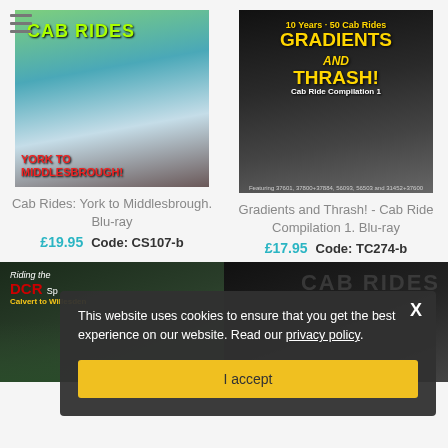[Figure (screenshot): Product listing page for train cab ride DVDs/Blu-rays. Shows two product cards at top: 'Cab Rides: York to Middlesbrough. Blu-ray' priced at £19.95 with code CS107-b, and 'Gradients and Thrash! - Cab Ride Compilation 1. Blu-ray' priced at £17.95 with code TC274-b. Partially visible bottom row of more products. A cookie consent overlay appears over the bottom half reading 'This website uses cookies to ensure that you get the best experience on our website. Read our privacy policy.' with an 'I accept' button and an X close button.]